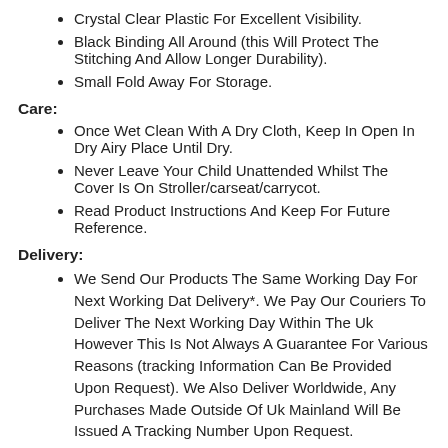Crystal Clear Plastic For Excellent Visibility.
Black Binding All Around (this Will Protect The Stitching And Allow Longer Durability).
Small Fold Away For Storage.
Care:
Once Wet Clean With A Dry Cloth, Keep In Open In Dry Airy Place Until Dry.
Never Leave Your Child Unattended Whilst The Cover Is On Stroller/carseat/carrycot.
Read Product Instructions And Keep For Future Reference.
Delivery:
We Send Our Products The Same Working Day For Next Working Dat Delivery*. We Pay Our Couriers To Deliver The Next Working Day Within The Uk However This Is Not Always A Guarantee For Various Reasons (tracking Information Can Be Provided Upon Request). We Also Deliver Worldwide, Any Purchases Made Outside Of Uk Mainland Will Be Issued A Tracking Number Upon Request.